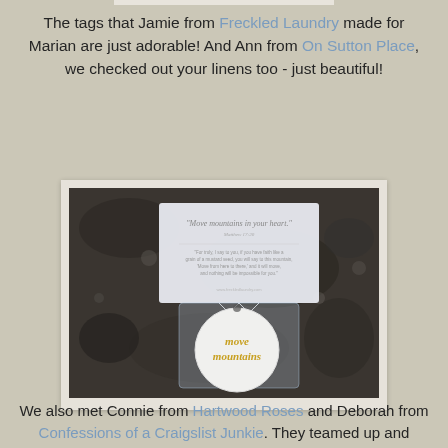The tags that Jamie from Freckled Laundry made for Marian are just adorable! And Ann from On Sutton Place, we checked out your linens too - just beautiful!
[Figure (photo): Photo of a circular white tag reading 'move mountains' in gold text, packaged in a clear bag, with a printed card behind it, set on a dark stone surface.]
We also met Connie from Hartwood Roses and Deborah from Confessions of a Craigslist Junkie. They teamed up and shared a fabulous space.